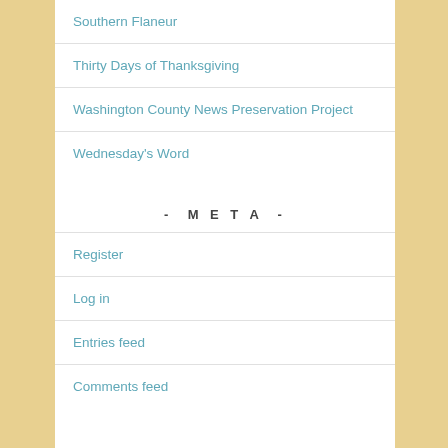Southern Flaneur
Thirty Days of Thanksgiving
Washington County News Preservation Project
Wednesday's Word
- META -
Register
Log in
Entries feed
Comments feed